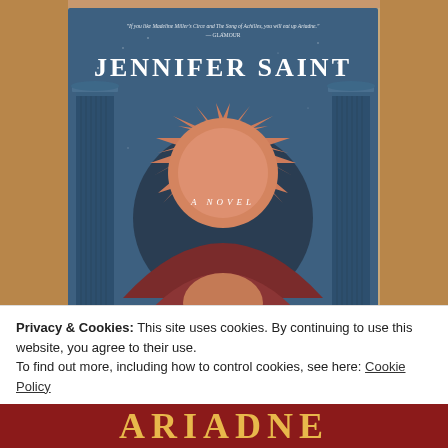[Figure (photo): A photograph of a book cover for 'Ariadne' by Jennifer Saint, showing a blue cover with a stylized sun/sunburst design in terracotta/salmon colors, Greek columns on either side, text reading 'JENNIFER SAINT' at top and 'A NOVEL' in center, with a quote at the top from Glamour magazine. The book is placed on a wooden surface.]
Privacy & Cookies: This site uses cookies. By continuing to use this website, you agree to their use.
To find out more, including how to control cookies, see here: Cookie Policy
Close and accept
ARIADNE